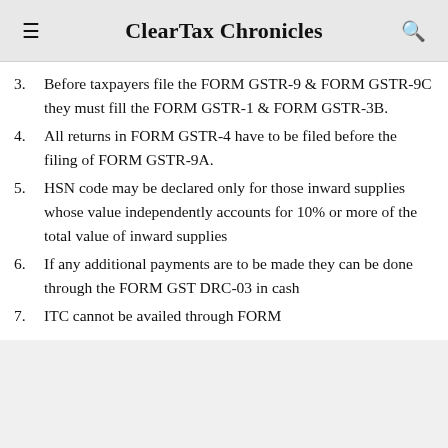ClearTax Chronicles
3. Before taxpayers file the FORM GSTR-9 & FORM GSTR-9C they must fill the FORM GSTR-1 & FORM GSTR-3B.
4. All returns in FORM GSTR-4 have to be filed before the filing of FORM GSTR-9A.
5. HSN code may be declared only for those inward supplies whose value independently accounts for 10% or more of the total value of inward supplies
6. If any additional payments are to be made they can be done through the FORM GST DRC-03 in cash
7. ITC cannot be availed through FORM